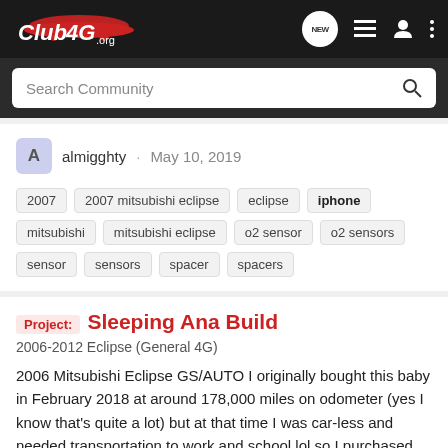Club 4G .org — navigation bar with search
almigghty · May 10, 2019
Tags: 2007, 2007 mitsubishi eclipse, eclipse, iphone, mitsubishi, mitsubishi eclipse, o2 sensor, o2 sensors, sensor, sensors, spacer, spacers
Project: Sleeping Ana Build
2006-2012 Eclipse (General 4G)
2006 Mitsubishi Eclipse GS/AUTO I originally bought this baby in February 2018 at around 178,000 miles on odometer (yes I know that's quite a lot) but at that time I was car-less and needed transportation to work and school lol so I purchased her for $3500 and have been working on getting...